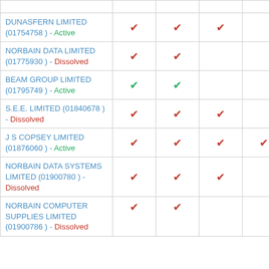| Company | Col1 | Col2 | Col3 | Col4 | Col5 |
| --- | --- | --- | --- | --- | --- |
| DUNASFERN LIMITED (01754758) - Active | ✔ | ✔ | ✔ |  |  |
| NORBAIN DATA LIMITED (01775930) - Dissolved | ✔ | ✔ |  |  |  |
| BEAM GROUP LIMITED (01795749) - Active | ✔ | ✔ |  |  |  |
| S.E.E. LIMITED (01840678) - Dissolved | ✔ | ✔ | ✔ |  |  |
| J S COPSEY LIMITED (01876060) - Active | ✔ | ✔ | ✔ | ✔ | ✔ |
| NORBAIN DATA SYSTEMS LIMITED (01900780) - Dissolved | ✔ | ✔ | ✔ |  |  |
| NORBAIN COMPUTER SUPPLIES LIMITED (01900786) - Dissolved | ✔ | ✔ |  |  |  |